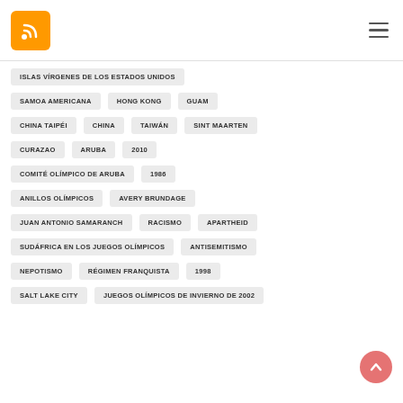[Figure (logo): RSS orange feed icon logo in top left header]
ISLAS VÍRGENES DE LOS ESTADOS UNIDOS
SAMOA AMERICANA
HONG KONG
GUAM
CHINA TAIPÉI
CHINA
TAIWÁN
SINT MAARTEN
CURAZAO
ARUBA
2010
COMITÉ OLÍMPICO DE ARUBA
1986
ANILLOS OLÍMPICOS
AVERY BRUNDAGE
JUAN ANTONIO SAMARANCH
RACISMO
APARTHEID
SUDÁFRICA EN LOS JUEGOS OLÍMPICOS
ANTISEMITISMO
NEPOTISMO
RÉGIMEN FRANQUISTA
1998
SALT LAKE CITY
JUEGOS OLÍMPICOS DE INVIERNO DE 2002